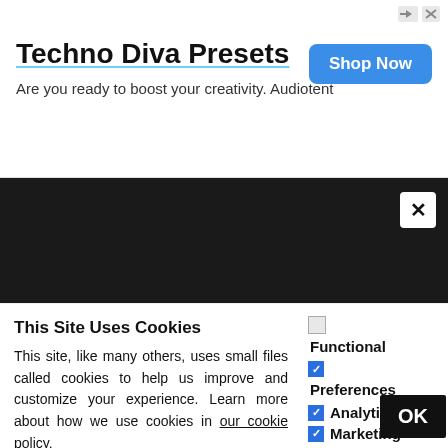[Figure (screenshot): Advertisement banner for Techno Diva Presets by Audiotent with a Shop Now button]
Techno Diva Presets
Are you ready to boost your creativity. Audiotent
[Figure (screenshot): Dark background section with author profile: Author Dinsan, Content Developer and Digital Minimalist. I love testing new Chromebook features and writing about them. My]
Author
Dinsan
Content Developer and Digital Minimalist. I love testing new Chromebook features and writing about them. My
This Site Uses Cookies
This site, like many others, uses small files called cookies to help us improve and customize your experience. Learn more about how we use cookies in our cookie policy.
Functional
Preferences
Analytics
Marketing